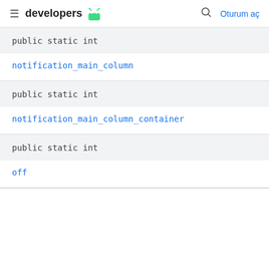developers | Oturum aç
public static int
notification_main_column
public static int
notification_main_column_container
public static int
off